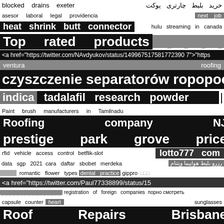blocked drains exeter   خرید بلیط چارتری یوکت
asesor laboral legal providencia   next job
heat shrink butt connector   hulu streaming in canada
Top rated products   □ □ □ □
<a href="https://twitter.com/NAvdyukov/status/149967517581772390 7">"https
ventura   roofing
czyszczenie separatorów ropopochodn
indica   tadalafil research powder   |
Paint brush manufacturers in Tamilnadu
Roofing   company   NJ
prestige   park   grove   price
rfid vehicle access control   betflik-slot   lotto777 com
data sgp 2021   cara daftar sbobet merdeka   رزرو بلیط هواپیما ویتنام
□□□□   romantic flower types   dental practice   gippro   □□□
<a href="https://twitter.com/Paul77338899/status/15
▓▓▓▓▓▓▓▓▓▓▓▓▓▓▓▓   registration of foreign companies   порно смотреть
capsule   counter   heart   sunglasses
Roof   Repairs   Brisbane
fine   wines   singapore
tablice ogłoszeniowe zewnętrzne
saser surn   Airdrop Binance tokens